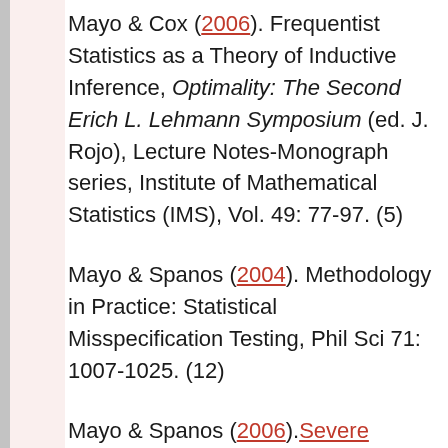Mayo & Cox (2006). Frequentist Statistics as a Theory of Inductive Inference, Optimality: The Second Erich L. Lehmann Symposium (ed. J. Rojo), Lecture Notes-Monograph series, Institute of Mathematical Statistics (IMS), Vol. 49: 77-97. (5)
Mayo & Spanos (2004). Methodology in Practice: Statistical Misspecification Testing, Phil Sci 71: 1007-1025. (12)
Mayo & Spanos (2006). Severe Testing as a Basic Concept in a Neyman-Pearson